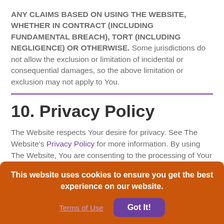ANY CLAIMS BASED ON USING THE WEBSITE, WHETHER IN CONTRACT (INCLUDING FUNDAMENTAL BREACH), TORT (INCLUDING NEGLIGENCE) OR OTHERWISE. Some jurisdictions do not allow the exclusion or limitation of incidental or consequential damages, so the above limitation or exclusion may not apply to You.
10. Privacy Policy
The Website respects Your desire for privacy. See The Website's Privacy Policy for more information. By using The Website, You are consenting to the processing of Your data by The Website and consenting to the terms of our Privacy Policy. If we decide to make any significant change to that
This website uses cookies to ensure you get the best experience on our website.